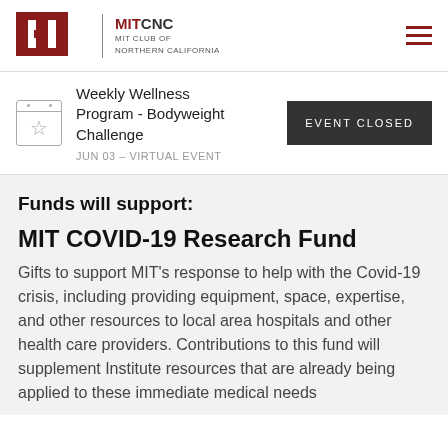[Figure (logo): MIT logo with red block letters and MITCNC MIT Club of Northern California text]
Weekly Wellness Program - Bodyweight Challenge
JUN 03 – VIRTUAL EVENT
EVENT CLOSED
Funds will support:
MIT COVID-19 Research Fund
Gifts to support MIT's response to help with the Covid-19 crisis, including providing equipment, space, expertise, and other resources to local area hospitals and other health care providers. Contributions to this fund will supplement Institute resources that are already being applied to these immediate medical needs